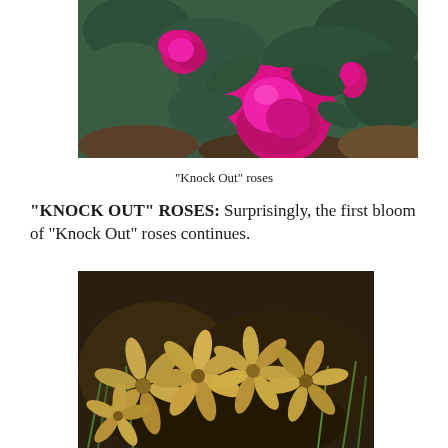[Figure (photo): Photograph of bright pink/magenta Knock Out roses with dark green leaves, viewed from above]
“Knock Out” roses
“KNOCK OUT” ROSES: Surprisingly, the first bloom of “Knock Out” roses continues.
[Figure (photo): Photograph of dried/dead golden-tan flowers lying on dark soil and green grass]